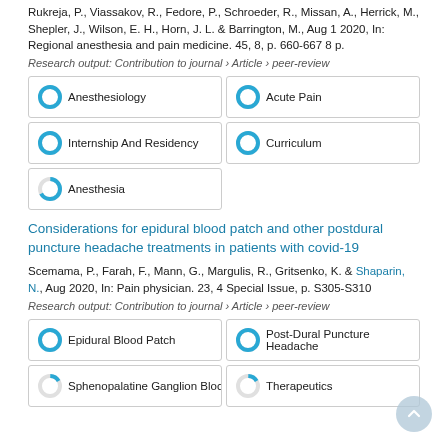Rukreja, P., Viassakov, R., Fedore, P., Schroeder, R., Missan, A., Herrick, M., Shepler, J., Wilson, E. H., Horn, J. L. & Barrington, M., Aug 1 2020, In: Regional anesthesia and pain medicine. 45, 8, p. 660-667 8 p.
Research output: Contribution to journal › Article › peer-review
[Figure (infographic): Keyword tags with donut chart icons: Anesthesiology 100%, Acute Pain 100%, Internship And Residency 100%, Curriculum 100%, Anesthesia 67%]
Considerations for epidural blood patch and other postdural puncture headache treatments in patients with covid-19
Scemama, P., Farah, F., Mann, G., Margulis, R., Gritsenko, K. & Shaparin, N., Aug 2020, In: Pain physician. 23, 4 Special Issue, p. S305-S310
Research output: Contribution to journal › Article › peer-review
[Figure (infographic): Keyword tags with donut chart icons: Epidural Blood Patch 100%, Post-Dural Puncture Headache 100%, Sphenopalatine Ganglion Bloc (partial), Therapeutics (partial)]